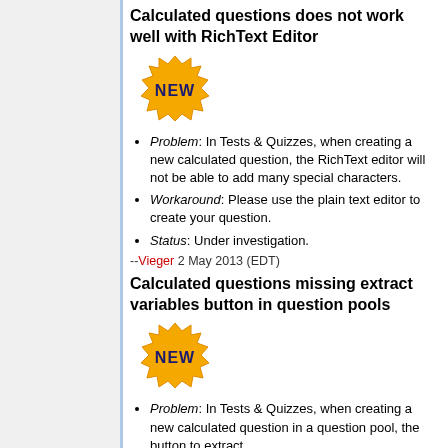Calculated questions does not work well with RichText Editor
[Figure (illustration): NEW badge/starburst graphic in gold/yellow color]
Problem: In Tests & Quizzes, when creating a new calculated question, the RichText editor will not be able to add many special characters.
Workaround: Please use the plain text editor to create your question.
Status: Under investigation.
--Vieger 2 May 2013 (EDT)
Calculated questions missing extract variables button in question pools
[Figure (illustration): NEW badge/starburst graphic in gold/yellow color]
Problem: In Tests & Quizzes, when creating a new calculated question in a question pool, the button to extract